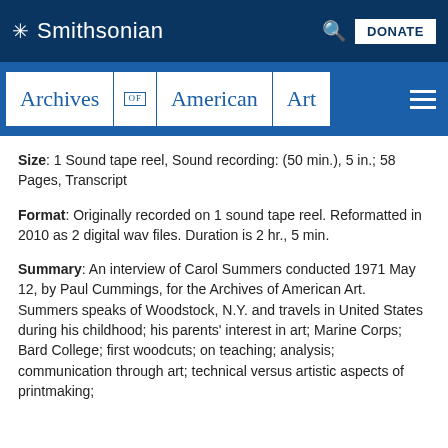Smithsonian
[Figure (logo): Archives of American Art navigation logo with text: Archives | OF | American | Art]
Size: 1 Sound tape reel, Sound recording: (50 min.), 5 in.; 58 Pages, Transcript
Format: Originally recorded on 1 sound tape reel. Reformatted in 2010 as 2 digital wav files. Duration is 2 hr., 5 min.
Summary: An interview of Carol Summers conducted 1971 May 12, by Paul Cummings, for the Archives of American Art.
Summers speaks of Woodstock, N.Y. and travels in United States during his childhood; his parents' interest in art; Marine Corps; Bard College; first woodcuts; on teaching; analysis; communication through art; technical versus artistic aspects of printmaking; techniques and procedures in printmaking; color and